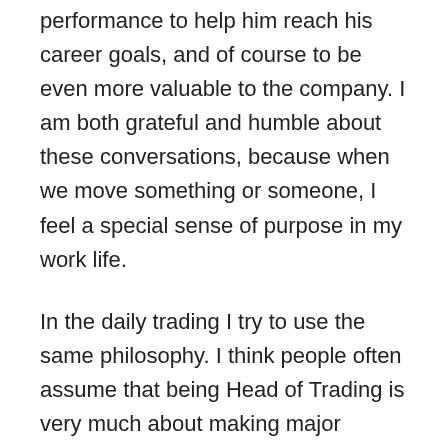performance to help him reach his career goals, and of course to be even more valuable to the company. I am both grateful and humble about these conversations, because when we move something or someone, I feel a special sense of purpose in my work life.
In the daily trading I try to use the same philosophy. I think people often assume that being Head of Trading is very much about making major trading decisions and big calls, but in my opinion it is much more a coaching role. I will never be able to know every single trade into details like the Traders do. They look at the markets and models constantly and get all information from their data, models, screens,